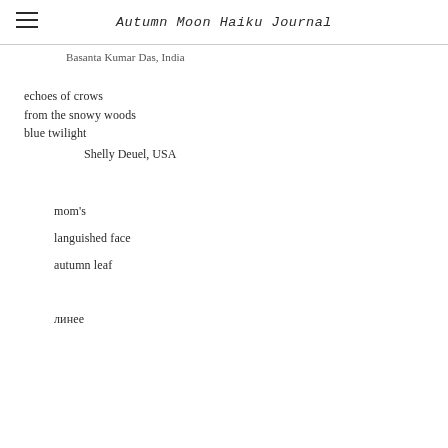Autumn Moon Haiku Journal
Basanta Kumar Das, India
echoes of crows
from the snowy woods
blue twilight
    Shelly Deuel, USA
mom's

languished face

autumn leaf
линее